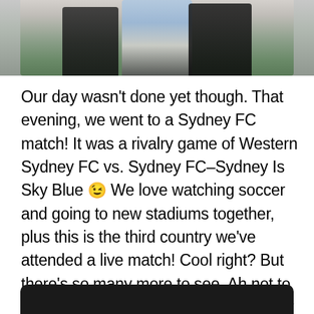[Figure (photo): Partial photo of people standing outdoors on grass, cropped at top of page]
Our day wasn't done yet though. That evening, we went to a Sydney FC match! It was a rivalry game of Western Sydney FC vs. Sydney FC–Sydney Is Sky Blue 😉 We love watching soccer and going to new stadiums together, plus this is the third country we've attended a live match! Cool right? But there's so many more to see. Ah not to mention, the game was the the Sydney Cricket Ground. A historic pitch. Walking through the place with John was a moment I'll never forget. You could feel the energy.
[Figure (photo): Bottom of page shows top edge of another photo with dark rounded background]